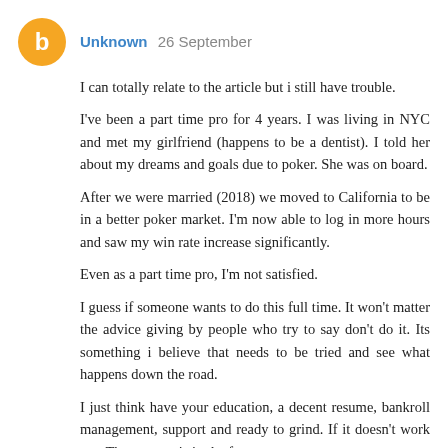Unknown 26 September
I can totally relate to the article but i still have trouble.
I've been a part time pro for 4 years. I was living in NYC and met my girlfriend (happens to be a dentist). I told her about my dreams and goals due to poker. She was on board.
After we were married (2018) we moved to California to be in a better poker market. I'm now able to log in more hours and saw my win rate increase significantly.
Even as a part time pro, I'm not satisfied.
I guess if someone wants to do this full time. It won't matter the advice giving by people who try to say don't do it. Its something i believe that needs to be tried and see what happens down the road.
I just think have your education, a decent resume, bankroll management, support and ready to grind. If it doesn't work out. The success is in the future...